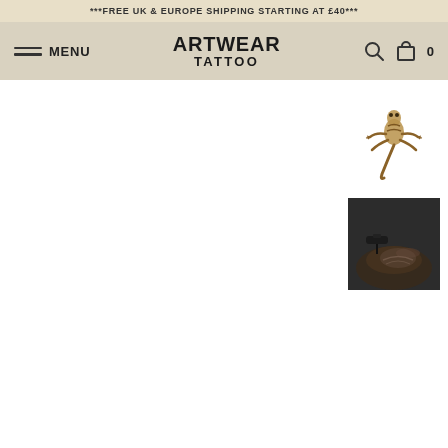***FREE UK & EUROPE SHIPPING STARTING AT £40***
[Figure (screenshot): Navigation bar with hamburger menu icon and MENU text on left, ARTWEAR TATTOO logo in center, search and cart icons on right]
[Figure (illustration): Small thumbnail image of a decorative gecko/lizard tattoo design in brown tones on white background]
[Figure (photo): Small thumbnail photo of a tattoo being applied to skin, dark background showing hand/arm]